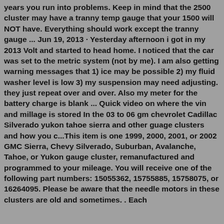years you run into problems. Keep in mind that the 2500 cluster may have a tranny temp gauge that your 1500 will NOT have. Everything should work except the tranny gauge ... Jun 19, 2013 · Yesterday afternoon i got in my 2013 Volt and started to head home. I noticed that the car was set to the metric system (not by me). I am also getting warning messages that 1) ice may be possible 2) my fluid washer level is low 3) my suspension may need adjusting. they just repeat over and over. Also my meter for the battery charge is blank ... Quick video on where the vin and millage is stored In the 03 to 06 gm chevrolet Cadillac Silverado yukon tahoe sierra and other guage clusters and how you c...This item is one 1999, 2000, 2001, or 2002 GMC Sierra, Chevy Silverado, Suburban, Avalanche, Tahoe, or Yukon gauge cluster, remanufactured and programmed to your mileage. You will receive one of the following part numbers: 15055362, 15755885, 15758075, or 16264095. Please be aware that the needle motors in these clusters are old and sometimes. . Each